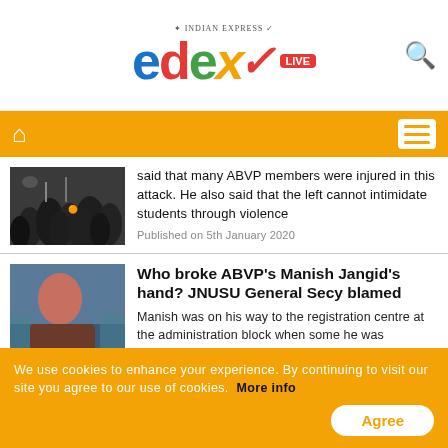[Figure (logo): EdexLive logo - colorful text logo with Indian Express branding]
[Figure (screenshot): Orange navigation bar with home icon and hamburger menu]
[Figure (photo): Black and white crowd protest photo thumbnail]
said that many ABVP members were injured in this attack. He also said that the left cannot intimidate students through violence
Published on 5th January 2020
[Figure (photo): Photo of Manish Jangid]
Who broke ABVP's Manish Jangid's hand? JNUSU General Secy blamed
Manish was on his way to the registration centre at the administration block when some he was attacked, he said
Published on 6th January 2020
We use cookies to enhance your experience. By continuing to visit our site you agree to our use of cookies. More info